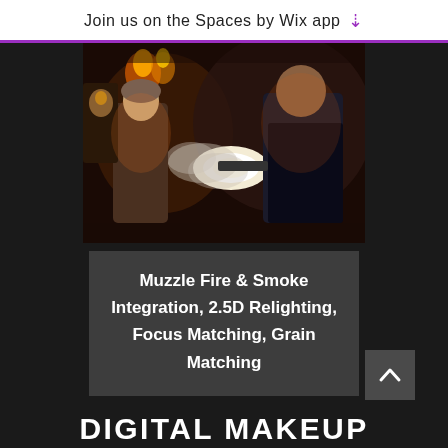Join us on the Spaces by Wix app
[Figure (photo): A dramatic dark scene showing a person firing a gun with muzzle flash and smoke, another person in costume in the background with torches and decorative objects]
Muzzle Fire & Smoke Integration, 2.5D Relighting, Focus Matching, Grain Matching
DIGITAL MAKEUP
BEFORE